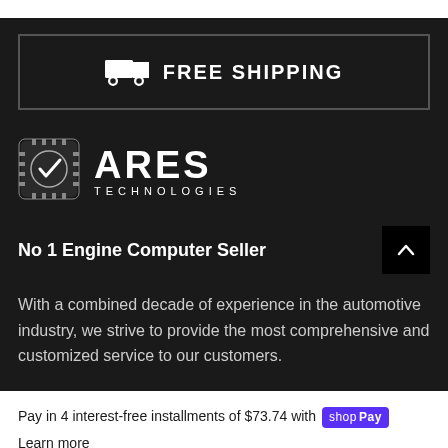[Figure (infographic): Free Shipping banner with truck icon inside a bordered box on dark background]
[Figure (logo): Ares Technologies logo with chip icon and large ARES text with TECHNOLOGIES subtitle]
No 1 Engine Computer Seller
With a combined decade of experience in the automotive industry, we strive to provide the most comprehensive and customized service to our customers.
Pay in 4 interest-free installments of $73.74 with shop Pay
Learn more
ADD TO CART